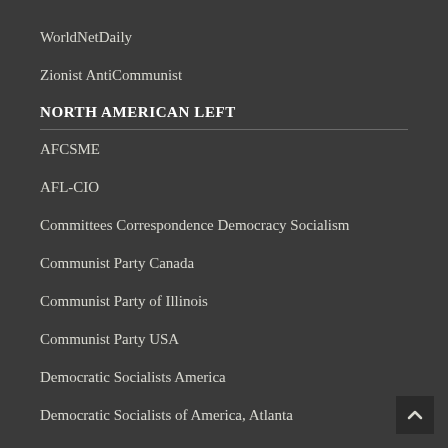WorldNetDaily
Zionist AntiCommunist
NORTH AMERICAN LEFT
AFCSME
AFL-CIO
Committees Correspondence Democracy Socialism
Communist Party Canada
Communist Party of Illinois
Communist Party USA
Democratic Socialists America
Democratic Socialists of America, Atlanta